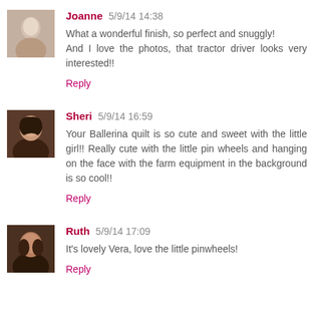[Figure (photo): Avatar photo of Joanne]
Joanne 5/9/14 14:38
What a wonderful finish, so perfect and snuggly!
And I love the photos, that tractor driver looks very interested!!
Reply
[Figure (photo): Avatar photo of Sheri]
Sheri 5/9/14 16:59
Your Ballerina quilt is so cute and sweet with the little girl!! Really cute with the little pin wheels and hanging on the face with the farm equipment in the background is so cool!!
Reply
[Figure (photo): Avatar photo of Ruth]
Ruth 5/9/14 17:09
It's lovely Vera, love the little pinwheels!
Reply